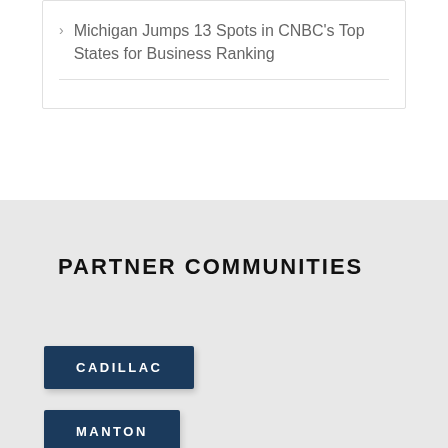Michigan Jumps 13 Spots in CNBC's Top States for Business Ranking
PARTNER COMMUNITIES
CADILLAC
MANTON